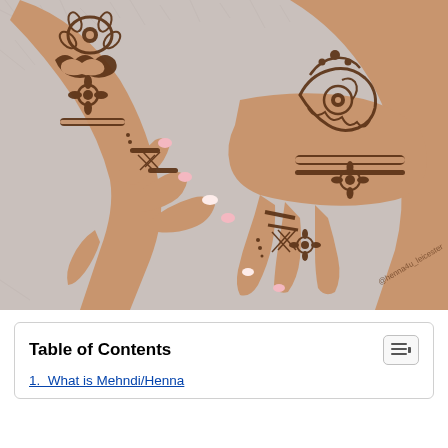[Figure (photo): Two hands adorned with intricate henna/mehndi designs in brown/dark reddish-brown color on a light grey fuzzy background. The designs feature floral and geometric Arabic-style patterns covering the backs of both hands and fingers. A watermark reads @henna4u_leicester.]
Table of Contents
1.  What is Mehndi/Henna